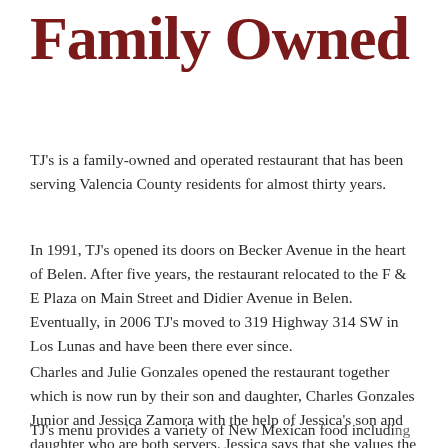Family Owned
TJ's is a family-owned and operated restaurant that has been serving Valencia County residents for almost thirty years.
In 1991, TJ's opened its doors on Becker Avenue in the heart of Belen. After five years, the restaurant relocated to the F & E Plaza on Main Street and Didier Avenue in Belen. Eventually, in 2006 TJ's moved to 319 Highway 314 SW in Los Lunas and have been there ever since.
Charles and Julie Gonzales opened the restaurant together which is now run by their son and daughter, Charles Gonzales Junior and Jessica Zamora with the help of Jessica's son and daughter who are both servers. Jessica says that she values the business and loves the customers it brings.
TJ's menu provides a variety of New Mexican food including...